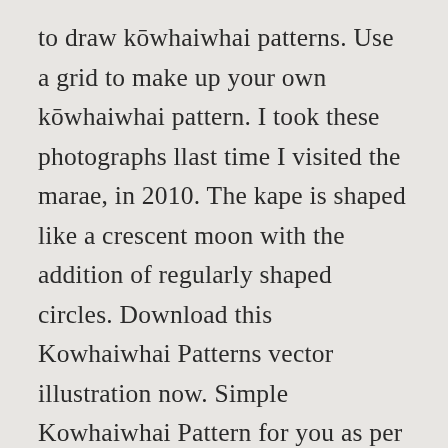to draw kōwhaiwhai patterns. Use a grid to make up your own kōwhaiwhai pattern. I took these photographs llast time I visited the marae, in 2010. The kape is shaped like a crescent moon with the addition of regularly shaped circles. Download this Kowhaiwhai Patterns vector illustration now. Simple Kowhaiwhai Pattern for you as per previous post. More Your students could use traditional colours for their kowhaiwhai which are black, red and white. There are 4 different Māori kowhaiwhai pattern templates to colour and they make terrific Māori design inspired gifts for someone you know. NZ Fine Prints have re-printed the original plates from Menzies classic collection onto beautiful watercolour paper.